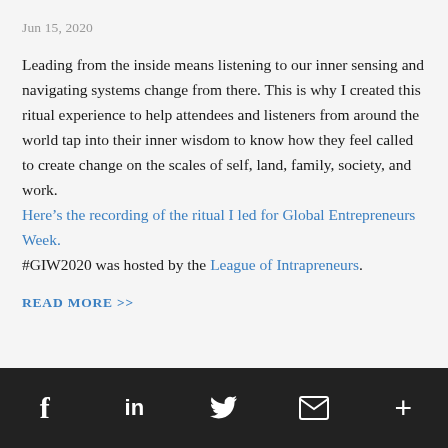Jun 15, 2020
Leading from the inside means listening to our inner sensing and navigating systems change from there. This is why I created this ritual experience to help attendees and listeners from around the world tap into their inner wisdom to know how they feel called to create change on the scales of self, land, family, society, and work. Here’s the recording of the ritual I led for Global Entrepreneurs Week. #GIW2020 was hosted by the League of Intrapreneurs.
READ MORE >>
Facebook | LinkedIn | Twitter | Email | More